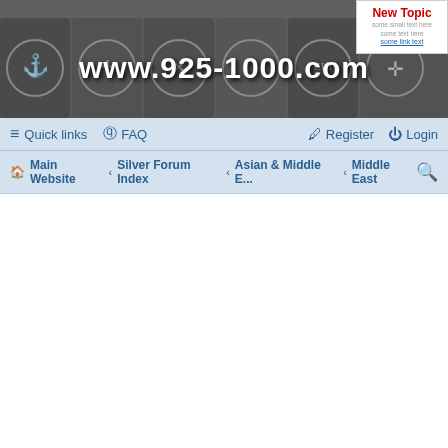[Figure (screenshot): Website header banner for www.925-1000.com showing decorative antique silver hallmark coins/stamps in black and white as background, with the URL text in white bold font centered]
New Topic
Quick links  FAQ  Register  Login
Main Website  <  Silver Forum Index  <  Asian & Middle E...  <  Middle East